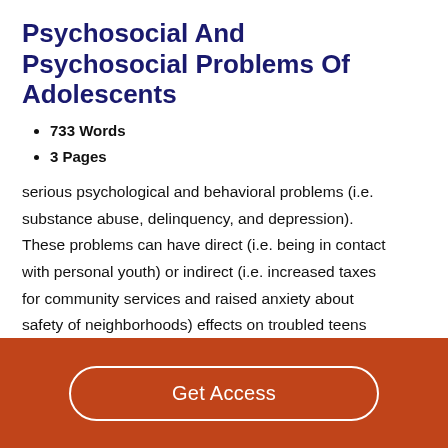Psychosocial And Psychosocial Problems Of Adolescents
733 Words
3 Pages
serious psychological and behavioral problems (i.e. substance abuse, delinquency, and depression). These problems can have direct (i.e. being in contact with personal youth) or indirect (i.e. increased taxes for community services and raised anxiety about safety of neighborhoods) effects on troubled teens and those around them. The media often exaggerates the psychosocial problems of adolescents, which leads to the stereotype of adolescents being troublesome. Therefore, it is important to distinguish…
Get Access